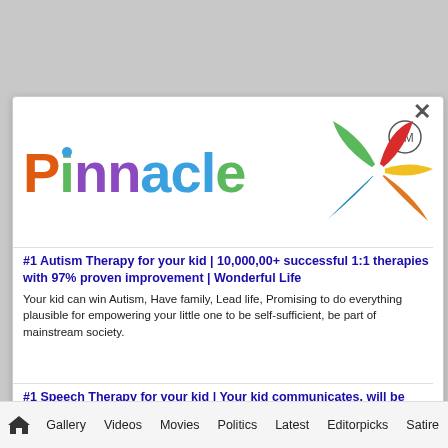[Figure (logo): Pinnacle colorful logo with pinwheel trademark symbol. Letters in orange, blue, green, purple colors.]
#1 Autism Therapy for your kid | 10,000,00+ successful 1:1 therapies with 97% proven improvement | Wonderful Life
Your kid can win Autism, Have family, Lead life, Promising to do everything plausible for empowering your little one to be self-sufficient, be part of mainstream society.
#1 Speech Therapy for your kid | Your kid communicates, will be Self-
Gallery  Videos  Movies  Politics  Latest  Editorpicks  Satire